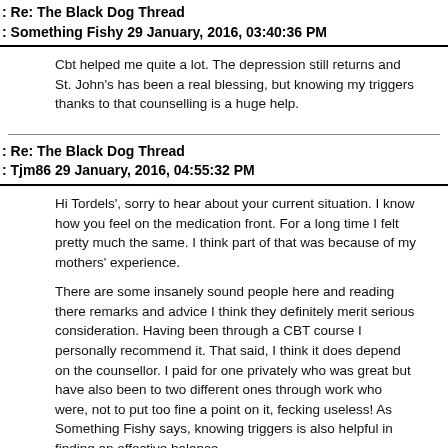Re: The Black Dog Thread
Something Fishy 29 January, 2016, 03:40:36 PM
Cbt helped me quite a lot.  The depression still returns and St. John's has been a real blessing, but knowing my triggers thanks to that counselling is a huge help.
Re: The Black Dog Thread
Tjm86 29 January, 2016, 04:55:32 PM
Hi Tordels', sorry to hear about your current situation.  I know how you feel on the medication front.  For a long time I felt pretty much the same.  I think part of that was because of my mothers' experience.

There are some insanely sound people here and reading there remarks and advice I think they definitely merit serious consideration.  Having been through a CBT course I personally recommend it.  That said, I think it does depend on the counsellor.  I paid for one privately who was great but have also been to two different ones through work who were, not to put too fine a point on it, fecking useless!  As Something Fishy says, knowing triggers is also helpful in finding an effective balance.

The other strategy I have tried is Mindfulness.  I think the worst thing about the Black Dog for me is the spiral.  Feeling depressed or anxious and then getting annoyed about feeling depressed or anxious, which makes the depression worse...